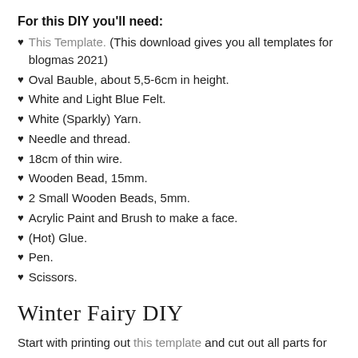For this DIY you'll need:
This Template. (This download gives you all templates for blogmas 2021)
Oval Bauble, about 5,5-6cm in height.
White and Light Blue Felt.
White (Sparkly) Yarn.
Needle and thread.
18cm of thin wire.
Wooden Bead, 15mm.
2 Small Wooden Beads, 5mm.
Acrylic Paint and Brush to make a face.
(Hot) Glue.
Pen.
Scissors.
Winter Fairy DIY
Start with printing out this template and cut out all parts for